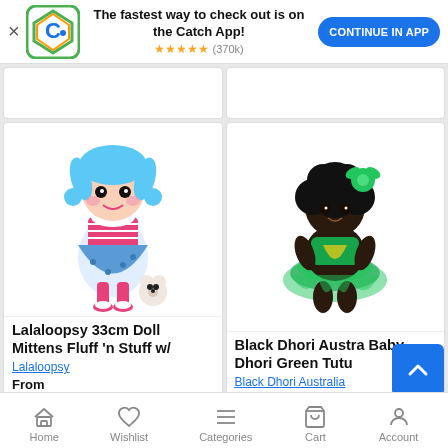[Figure (screenshot): App download banner with Catch logo, text 'The fastest way to check out is on the Catch App!', star rating (370k reviews), and 'CONTINUE IN APP' button]
[Figure (photo): Lalaloopsy 33cm Doll Mittens Fluff n Stuff with blue hair and small white bear companion]
Lalaloopsy 33cm Doll Mittens Fluff 'n Stuff w/
Lalaloopsy
From
[Figure (photo): Black Dhori Australia Baby Dhori Green Tutu doll with afro hair and green flower accessory]
Black Dhori Austra Baby Dhori Green Tutu
Black Dhori Australia
Home  Wishlist  Categories  Cart  Account